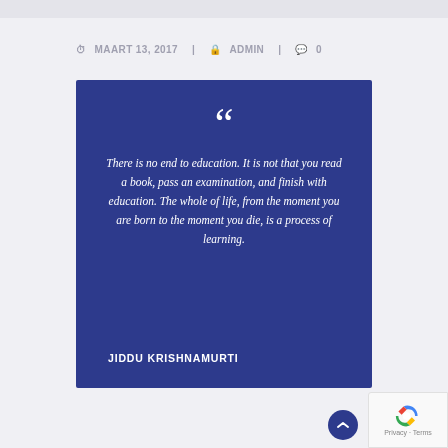MAART 13, 2017  |  ADMIN  |  0
[Figure (infographic): Blue quote card with large opening quotation mark, italic quote text, and author name JIDDU KRISHNAMURTI on dark blue background]
There is no end to education. It is not that you read a book, pass an examination, and finish with education. The whole of life, from the moment you are born to the moment you die, is a process of learning.
JIDDU KRISHNAMURTI